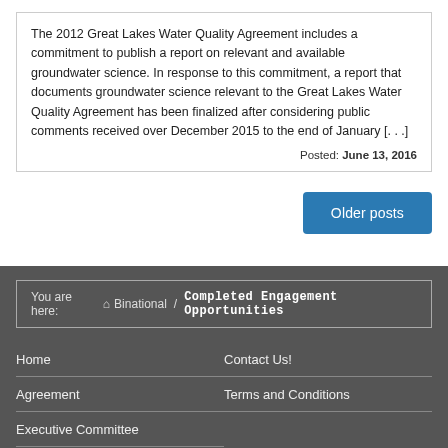The 2012 Great Lakes Water Quality Agreement includes a commitment to publish a report on relevant and available groundwater science. In response to this commitment, a report that documents groundwater science relevant to the Great Lakes Water Quality Agreement has been finalized after considering public comments received over December 2015 to the end of January [. . .]
Posted: June 13, 2016
Older posts
You are here: Binational / Completed Engagement Opportunities
Home
Contact Us!
Agreement
Terms and Conditions
Executive Committee
Annexes and Issues